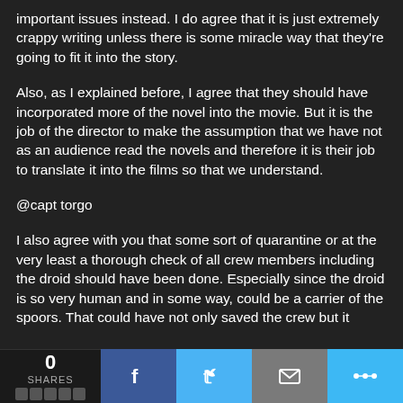important issues instead. I do agree that it is just extremely crappy writing unless there is some miracle way that they’re going to fit it into the story.
Also, as I explained before, I agree that they should have incorporated more of the novel into the movie. But it is the job of the director to make the assumption that we have not as an audience read the novels and therefore it is their job to translate it into the films so that we understand.
@capt torgo
I also agree with you that some sort of quarantine or at the very least a thorough check of all crew members including the droid should have been done. Especially since the droid is so very human and in some way, could be a carrier of the spoors. That could have not only saved the crew but it
0 SHARES  [Facebook] [Twitter] [Mail] [More]